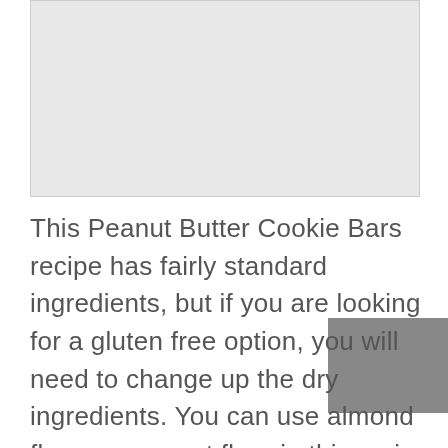[Figure (photo): Image placeholder area at top of page]
This Peanut Butter Cookie Bars recipe has fairly standard ingredients, but if you are looking for a gluten free option, you will need to change up the dry ingredients. You can use almond flour or coconut flour in this recipe, but you should do some research as to how to alter the baking powder or the amount of alternative flour you will be using. It is not quite 1:1